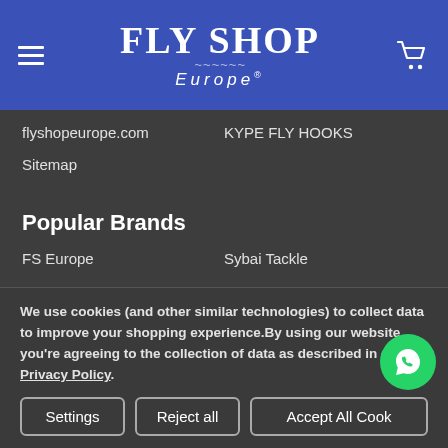FLY SHOP Europe
flyshopeurope.com
KYPE FLY HOOKS
Sitemap
Popular Brands
FS Europe
Sybai Tackle
We use cookies (and other similar technologies) to collect data to improve your shopping experience.By using our website, you're agreeing to the collection of data as described in our Privacy Policy.